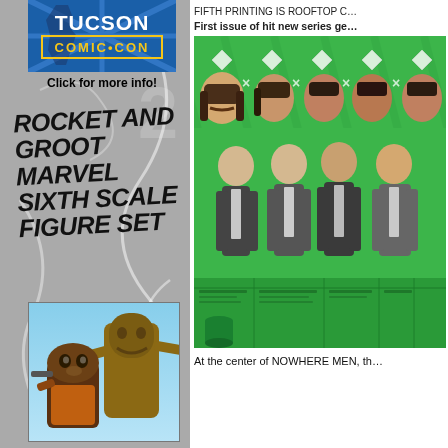[Figure (logo): Tucson Comic Con logo — blue background with white TUCSON text and yellow COMIC•CON text]
Click for more info!
ROCKET AND GROOT MARVEL SIXTH SCALE FIGURE SET
[Figure (photo): Rocket Raccoon and Groot Marvel action figures posed against blue sky background]
FIFTH PRINTING IS ROOFTOP C…
First issue of hit new series ge…
[Figure (illustration): Nowhere Men comic book cover — green background with illustrated character head portraits at top and full-body figures below, plus a data table at the bottom]
At the center of NOWHERE MEN, th…